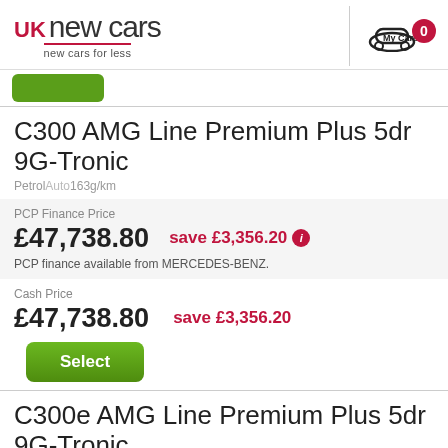UK new cars — new cars for less | My Cars 0
C300 AMG Line Premium Plus 5dr 9G-Tronic
Petrol · Auto · 163g/km
PCP Finance Price
£47,738.80   save £3,356.20
PCP finance available from MERCEDES-BENZ.
Cash Price
£47,738.80   save £3,356.20
C300e AMG Line Premium Plus 5dr 9G-Tronic